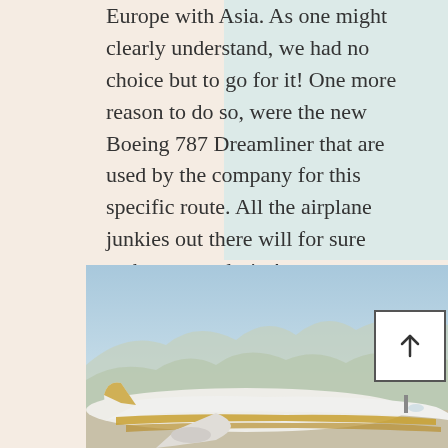Europe with Asia. As one might clearly understand, we had no choice but to go for it! One more reason to do so, were the new Boeing 787 Dreamliner that are used by the company for this specific route. All the airplane junkies out there will for sure embrace our desire!
[Figure (photo): A Boeing 787 Dreamliner aircraft with yellow and white livery on the ground, with mountains and a light blue sky in the background.]